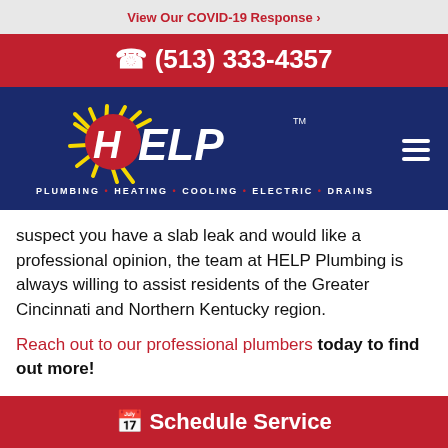View Our COVID-19 Response ›
(513) 333-4357
[Figure (logo): HELP Plumbing Heating Cooling Electric Drains logo on dark navy background with yellow sun rays and red circle]
suspect you have a slab leak and would like a professional opinion, the team at HELP Plumbing is always willing to assist residents of the Greater Cincinnati and Northern Kentucky region.
Reach out to our professional plumbers today to find out more!
Posted by Plumbing
Schedule Service